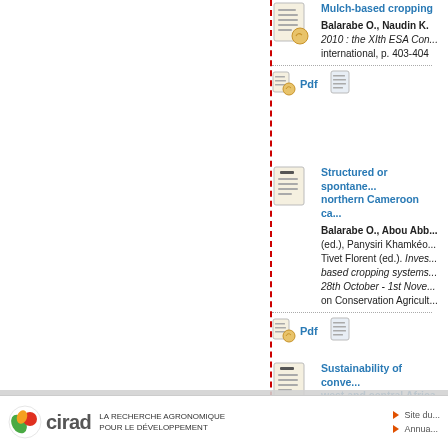[Figure (illustration): Document/page icon for first entry]
Mulch-based cropping
Balarabe O., Naudin K. 2010 : the XIth ESA Con... international, p. 403-404
Pdf [icon]
[Figure (illustration): Document/page icon for second entry]
Structured or spontane... northern Cameroon ca...
Balarabe O., Abou Abb... (ed.), Panysiri Khamkéo... Tivet Florent (ed.). Inves... based cropping systems... 28th October - 1st Nove... on Conservation Agricult...
Pdf [icon]
[Figure (illustration): Document/page icon for third entry]
Sustainability of conve... west and central Africa
Balarabe O., Séguy L.,
En cliquant sur [Accepter], vous autorisez l'utilisation des cookies qui analysent la fréquentation du site. Vous pouvez aussi refuser leur utilisation en cliquant sur [Refuser] :
En savoir plus
Refuser
Accepter
cirad LA RECHERCHE AGRONOMIQUE POUR LE DÉVELOPPEMENT Site du... Annua...